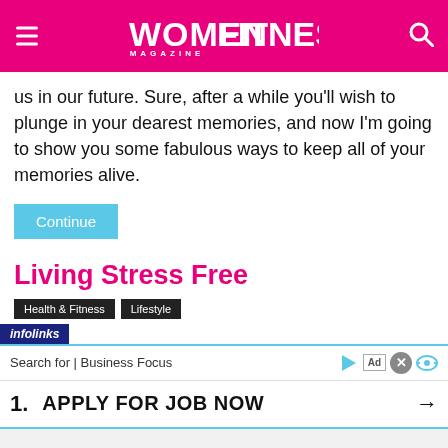WOMENFITNESS MAGAZINE
us in our future. Sure, after a while you'll wish to plunge in your dearest memories, and now I'm going to show you some fabulous ways to keep all of your memories alive.
Continue
Living Stress Free
Health & Fitness   Lifestyle
infolinks
Search for | Business Focus
1.   APPLY FOR JOB NOW →